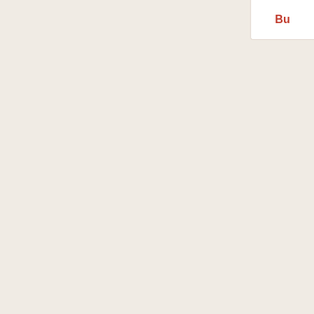Bu
Page: [1] 2 3 4 5 6 7 8 9
Search eBay
Sea